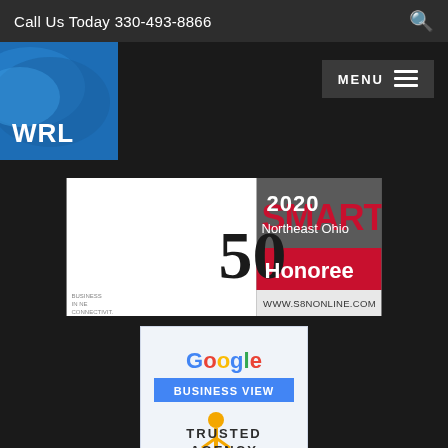Call Us Today 330-493-8866
[Figure (logo): WRL company logo — blue background with wave graphic and WRL text]
[Figure (other): Menu navigation button with hamburger icon]
[Figure (other): Smart 50 2020 Northeast Ohio Honoree badge — www.s8nonline.com]
[Figure (other): Google Business View Trusted Agency badge with person icon]
[Figure (other): Facebook Marketing Partner badge — blue background with facebook and Marketing Partner text]